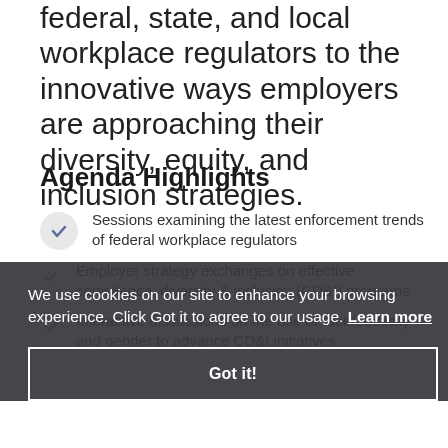federal, state, and local workplace regulators to the innovative ways employers are approaching their diversity, equity, and inclusion strategies.
Agenda Highlights
Sessions examining the latest enforcement trends of federal workplace regulators
Employer strategy exchanges on effective compliance, diversity & inclusion (CD&I) programs
Interactive discussions on the use of race/ethnicity and gender to advance CD&I initiatives
We use cookies on our site to enhance your browsing experience. Click Got it to agree to our usage. Learn more
Got it!